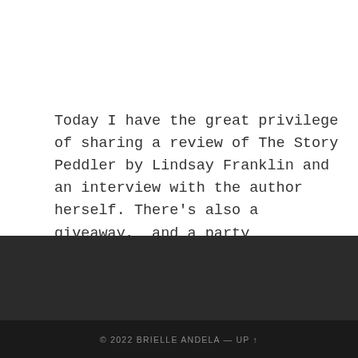Today I have the great privilege of sharing a review of The Story Peddler by Lindsay Franklin and an interview with the author herself. There's also a giveaway,  and a party invitation down below, so do read write to … Read the rest
© 2022 BRIELLE ANDELA — UP ↑